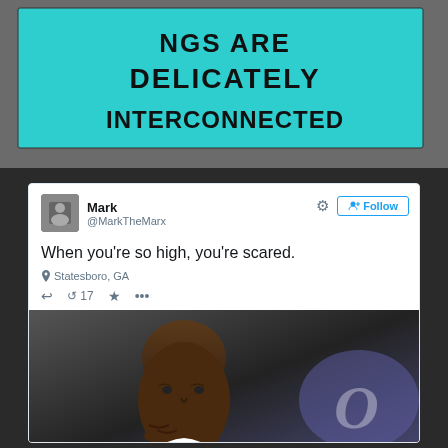[Figure (photo): LED sign displaying text '...INGS ARE DELICATELY INTERCONNECTED' in black dotted letters on teal/cyan background, mounted on a gray wall]
[Figure (screenshot): Screenshot of a tweet by Mark (@MarkTheMarx) reading 'When you're so high, you're scared.' with location 'Statesboro, GA', with an embedded photo of a bald Black man looking distressed, holding his hand to his mouth, with an Oprah show logo visible in the background]
When you're so high, you're scared.
Statesboro, GA